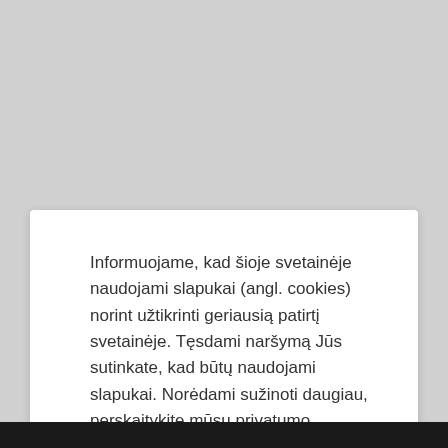Informuojame, kad šioje svetainėje naudojami slapukai (angl. cookies) norint užtikrinti geriausią patirtį svetainėje. Tęsdami naršymą Jūs sutinkate, kad būtų naudojami slapukai. Norėdami sužinoti daugiau, perskaitykite mūsų privatumo politiką.
Tęsti